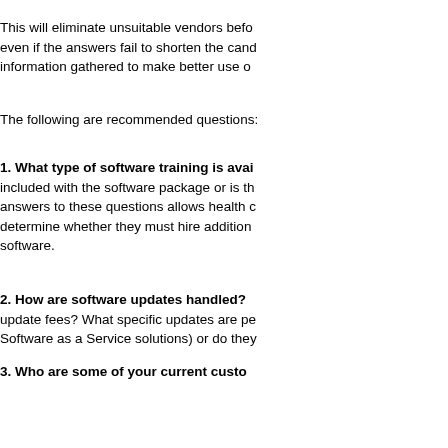This will eliminate unsuitable vendors before even if the answers fail to shorten the candidate list, the information gathered to make better use of
The following are recommended questions:
1. What type of software training is available? included with the software package or is the training extra? Getting answers to these questions allows health c determine whether they must hire additional staff to manage the software.
2. How are software updates handled? update fees? What specific updates are pe Software as a Service solutions) or do they
3. Who are some of your current customers? current clients that are similar in size/scope return on investment? Use this information the vendor has difficulty listing clients or ha around long or be able to cater to your ne
4. What content comes prepackaged with comprehensive list of drug-drug interactions your specialty included? How frequently a